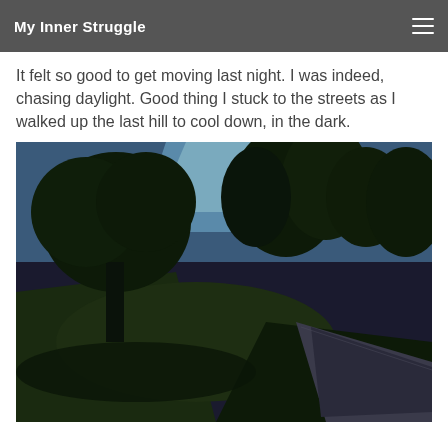My Inner Struggle
It felt so good to get moving last night.  I was indeed, chasing daylight. Good thing I stuck to the streets as I walked up the last hill to cool down, in the dark.
[Figure (photo): Outdoor dusk/evening photo showing a road curving to the right with dark green trees against a blue twilight sky, grass hillside in the foreground, taken in low light conditions.]